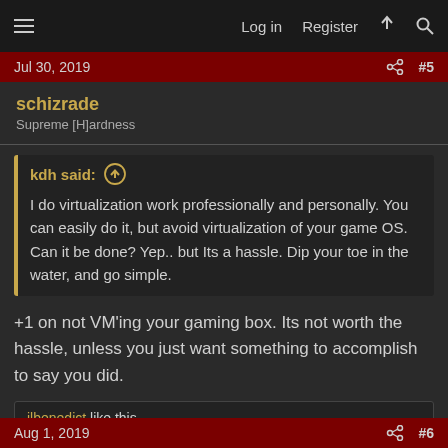Log in  Register
Jul 30, 2019  #5
schizrade
Supreme [H]ardness
kdh said: ↑
I do virtualization work professionally and personally. You can easily do it, but avoid virtualization of your game OS. Can it be done? Yep.. but Its a hassle. Dip your toe in the water, and go simple.
+1 on not VM'ing your gaming box. Its not worth the hassle, unless you just want something to accomplish to say you did.
jlbenedict like this
Aug 1, 2019  #6